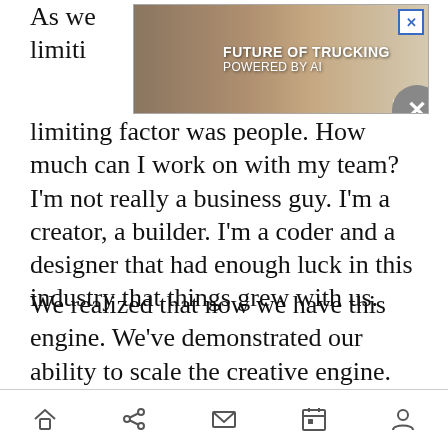As we… limiting factor was people. How much can I work on with my team? I'm not really a business guy. I'm a creator, a builder. I'm a coder and a designer that had enough luck in this industry that things grew with us.
[Figure (other): Advertisement banner: FUTURE OF TRUCKING POWERED BY AI, with truck image and GPlusAI logo, with close button]
We realized that now we have this engine. We've demonstrated our ability to scale the creative engine. We started the Quebec studio and were able to prove we could use our processes, our methods, our culture, and scale with people. Now what's limiting us is capital to invest in our efforts. We have to figure out how to get access to capital.
Navigation bar: home, share, mail, calendar, profile